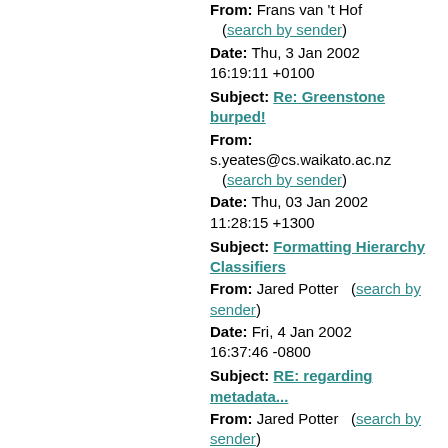From: Frans van 't Hof (search by sender)
Date: Thu, 3 Jan 2002 16:19:11 +0100
Subject: Re: Greenstone burped!
From: s.yeates@cs.waikato.ac.nz (search by sender)
Date: Thu, 03 Jan 2002 11:28:15 +1300
Subject: Formatting Hierarchy Classifiers
From: Jared Potter (search by sender)
Date: Fri, 4 Jan 2002 16:37:46 -0800
Subject: RE: regarding metadata...
From: Jared Potter (search by sender)
Date: Mon, 7 Jan 2002 11:03:33 -0800
Subject: regarding